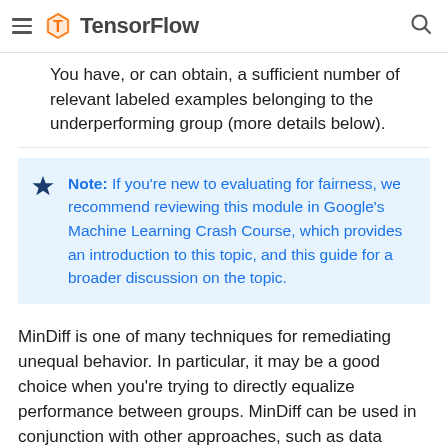TensorFlow
You have, or can obtain, a sufficient number of relevant labeled examples belonging to the underperforming group (more details below).
Note: If you're new to evaluating for fairness, we recommend reviewing this module in Google's Machine Learning Crash Course, which provides an introduction to this topic, and this guide for a broader discussion on the topic.
MinDiff is one of many techniques for remediating unequal behavior. In particular, it may be a good choice when you're trying to directly equalize performance between groups. MinDiff can be used in conjunction with other approaches, such as data augmentation and others, which may lead to better results. However, if you need to prioritize which technique to invest in, you should do so according to your product needs.